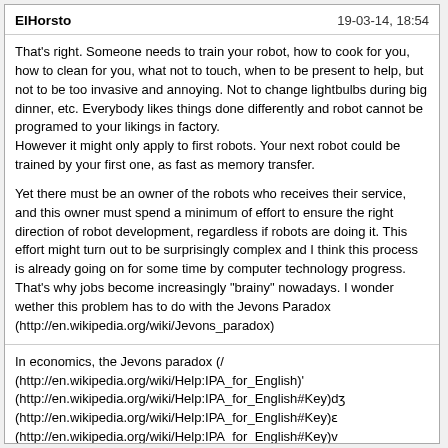ElHorsto   19-03-14, 18:54
That's right. Someone needs to train your robot, how to cook for you, how to clean for you, what not to touch, when to be present to help, but not to be too invasive and annoying. Not to change lightbulbs during big dinner, etc. Everybody likes things done differently and robot cannot be programed to your likings in factory.
However it might only apply to first robots. Your next robot could be trained by your first one, as fast as memory transfer.
Yet there must be an owner of the robots who receives their service, and this owner must spend a minimum of effort to ensure the right direction of robot development, regardless if robots are doing it. This effort might turn out to be surprisingly complex and I think this process is already going on for some time by computer technology progress. That's why jobs become increasingly "brainy" nowadays. I wonder wether this problem has to do with the Jevons Paradox (http://en.wikipedia.org/wiki/Jevons_paradox)
In economics, the Jevons paradox (/(http://en.wikipedia.org/wiki/Help:IPA_for_English)'(http://en.wikipedia.org/wiki/Help:IPA_for_English#Key)dʒ(http://en.wikipedia.org/wiki/Help:IPA_for_English#Key)ɛ(http://en.wikipedia.org/wiki/Help:IPA_for_English#Key)v(http://en.wikipedia.org/wiki/Help:IPA_for_English#Key)ə(http://en.wikipedia.org/wiki/Help:IPA_for_English#Key)n(http://en.wikipedia.org/wiki/Help:IPA_for_English#Key)z(http://en.wikipedia.org/wiki/Help:IPA_for_English#Key)/(http://en.wikipedia.org/wiki/Help:IPA_for_English); sometimes Jevons effect) is the proposition that as technology progresses (http://en.wikipedia.org/wiki/Technological_change), the increase in efficiency (http://en.wikipedia.org/wiki/Efficiency) with which a resource (http://en.wikipedia.org/wiki/Resource_%28economics%29) is used tends to increase (rather than decrease) the rate of consumption (http://en.wikipedia.org/wiki/Consumption_%28economics%29) of that resource.